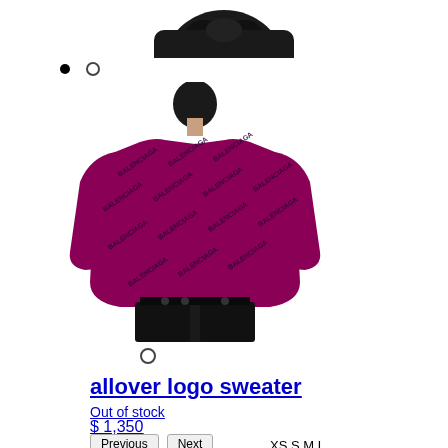[Figure (photo): Top portion of a dark blazer/top, cropped at top of page]
[Figure (photo): Person wearing a magenta/purple Balenciaga allover logo sweater with diagonal logo text pattern, black pants, viewed from behind]
allover logo sweater
Out of stock
$ 1,350
Previous  Next
XS S M L